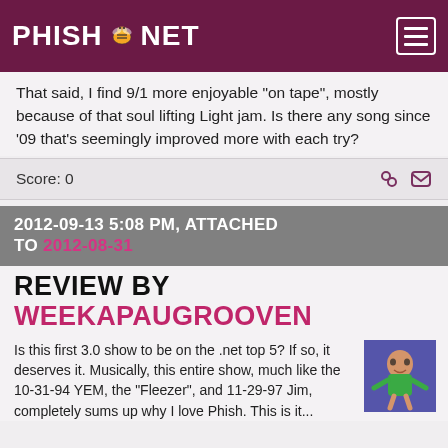PHISH.NET
That said, I find 9/1 more enjoyable "on tape", mostly because of that soul lifting Light jam. Is there any song since '09 that's seemingly improved more with each try?
Score: 0
2012-09-13 5:08 PM, ATTACHED TO 2012-08-31
REVIEW BY WEEKAPAUGROOVEN
Is this first 3.0 show to be on the .net top 5? If so, it deserves it. Musically, this entire show, much like the 10-31-94 YEM, the "Fleezer", and 11-29-97 Jim, completely sums up why I love Phish. This is it...